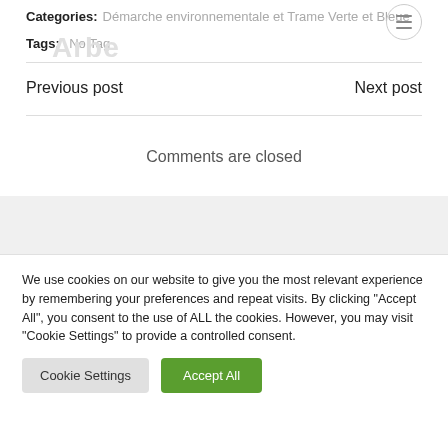Categories: Démarche environnementale et Trame Verte et Bleue
Tags: No Tag
Previous post
Next post
Comments are closed
We use cookies on our website to give you the most relevant experience by remembering your preferences and repeat visits. By clicking "Accept All", you consent to the use of ALL the cookies. However, you may visit "Cookie Settings" to provide a controlled consent.
Cookie Settings
Accept All